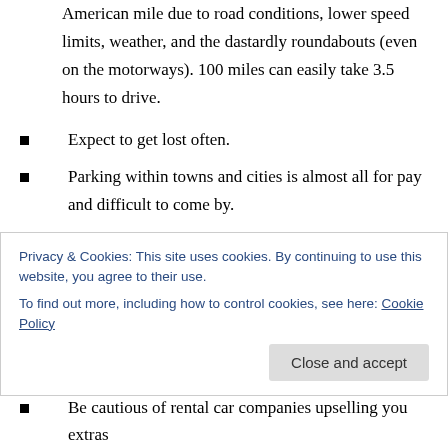American mile due to road conditions, lower speed limits, weather, and the dastardly roundabouts (even on the motorways). 100 miles can easily take 3.5 hours to drive.
Expect to get lost often.
Parking within towns and cities is almost all for pay and difficult to come by.
On single lane roads that abide two-way traffic there are cutouts for each direction to pull over to allow for passing.
Privacy & Cookies: This site uses cookies. By continuing to use this website, you agree to their use. To find out more, including how to control cookies, see here: Cookie Policy
Be cautious of rental car companies upselling you extras